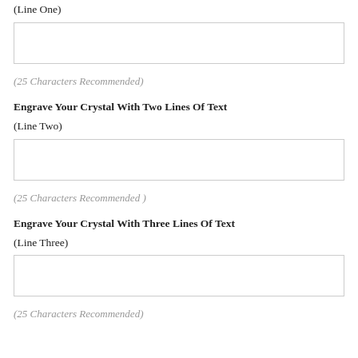(Line One)
[Figure (other): Empty text input box for Line One engraving text]
(25 Characters Recommended)
Engrave Your Crystal With Two Lines Of Text
(Line Two)
[Figure (other): Empty text input box for Line Two engraving text]
(25 Characters Recommended )
Engrave Your Crystal With Three Lines Of Text
(Line Three)
[Figure (other): Empty text input box for Line Three engraving text]
(25 Characters Recommended)